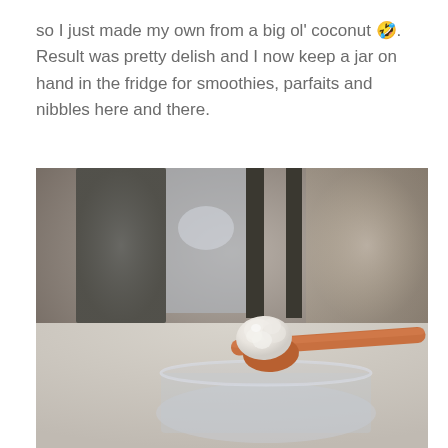so I just made my own from a big ol' coconut 🤣. Result was pretty delish and I now keep a jar on hand in the fridge for smoothies, parfaits and nibbles here and there.
[Figure (photo): Close-up photo of a wooden spoon resting on a glass jar, with a dollop of white coconut cream or yogurt on the spoon. Background is blurred showing a window and neutral tones.]